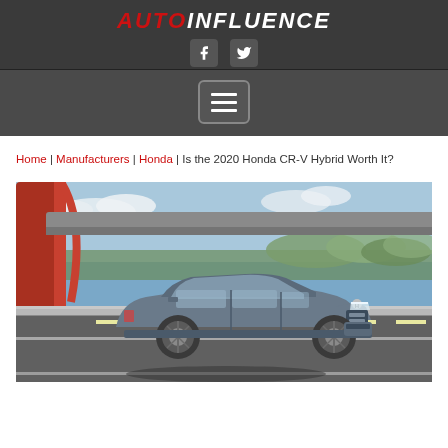AUTOINFLUENCE
[Figure (screenshot): AutoInfluence website header with logo, social media icons (Facebook, Twitter), and hamburger navigation menu button on dark background]
Home | Manufacturers | Honda | Is the 2020 Honda CR-V Hybrid Worth It?
[Figure (photo): 2020 Honda CR-V Hybrid in grey/silver color driving on a highway bridge with red architectural pillars, trees and blue sky in background]